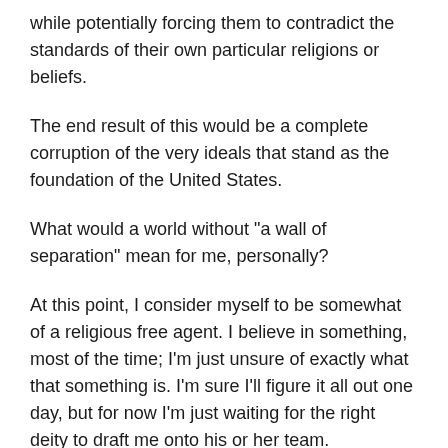while potentially forcing them to contradict the standards of their own particular religions or beliefs.
The end result of this would be a complete corruption of the very ideals that stand as the foundation of the United States.
What would a world without "a wall of separation" mean for me, personally?
At this point, I consider myself to be somewhat of a religious free agent. I believe in something, most of the time; I'm just unsure of exactly what that something is. I'm sure I'll figure it all out one day, but for now I'm just waiting for the right deity to draft me onto his or her team.
With that said, none of this uncertainty exists when it